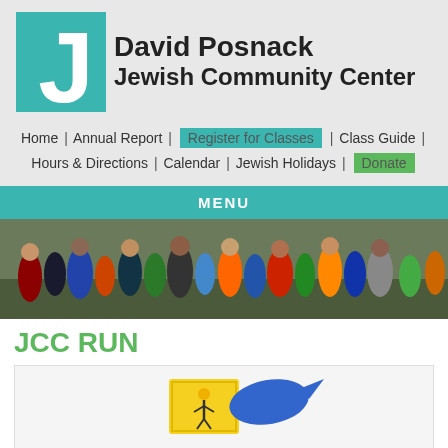[Figure (logo): David Posnack Jewish Community Center logo with teal square containing white letter J and organization name text]
Home | Annual Report | Register for Classes | Class Guide | Hours & Directions | Calendar | Jewish Holidays | Donate
MENU
[Figure (photo): Crowd of runners at the start of a race, outdoor event daytime]
JCC RUN
[Figure (logo): JCC Run event logo, partially visible, with yellow and blue graphic elements]